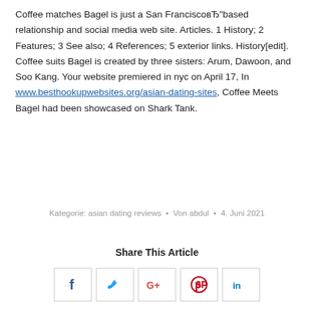Coffee matches Bagel is just a San FranciscoвЂ"based relationship and social media web site. Articles. 1 History; 2 Features; 3 See also; 4 References; 5 exterior links. History[edit]. Coffee suits Bagel is created by three sisters: Arum, Dawoon, and Soo Kang. Your website premiered in nyc on April 17, In www.besthookupwebsites.org/asian-dating-sites, Coffee Meets Bagel had been showcased on Shark Tank.
Kategorie: asian dating reviews · Von abdul · 4. Juni 2021
Share This Article